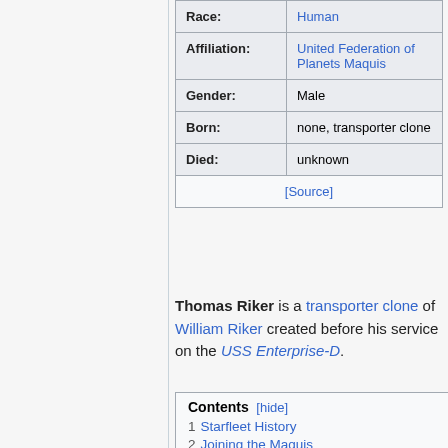| Field | Value |
| --- | --- |
| Race: | Human |
| Affiliation: | United Federation of Planets Maquis |
| Gender: | Male |
| Born: | none, transporter clone |
| Died: | unknown |
|  | [Source] |
Thomas Riker is a transporter clone of William Riker created before his service on the USS Enterprise-D.
| Contents |
| --- |
| 1 Starfleet History |
| 2 Joining the Maquis |
| 3 Starfleet Policy |
| 4 Ethics |